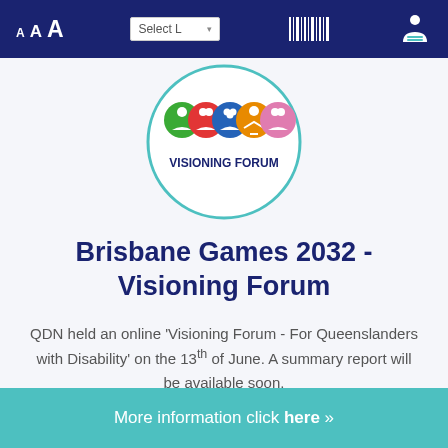A A A  Select L  [barcode icon]  [reader icon]
[Figure (logo): Visioning Forum logo: five colorful circular icons (green, red, blue, orange, pink) with people/family symbols, inside a teal circle outline, with 'VISIONING FORUM' text below the icons]
Brisbane Games 2032 - Visioning Forum
QDN held an online 'Visioning Forum - For Queenslanders with Disability' on the 13th of June. A summary report will be available soon.
More information click here »